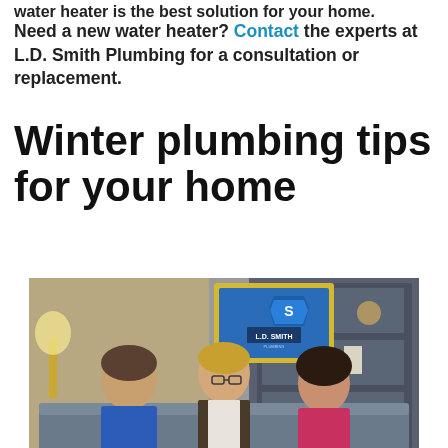water heater is the best solution for your home.
Need a new water heater? Contact the experts at L.D. Smith Plumbing for a consultation or replacement.
Winter plumbing tips for your home
[Figure (photo): Three people sitting on a couch in a TV studio set with an L.D. Smith Plumbing branded sign/screen visible in the background. The person on the left wears a blue shirt, the person in the middle wears a vest, and the person on the right wears a pink top.]